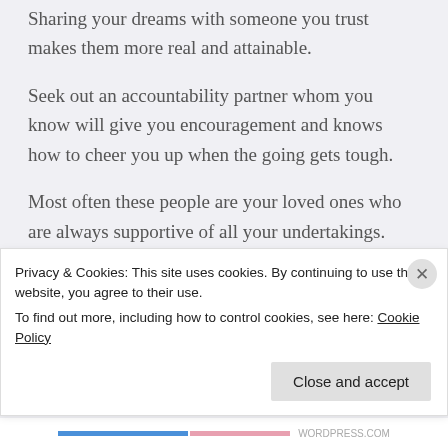Sharing your dreams with someone you trust makes them more real and attainable.
Seek out an accountability partner whom you know will give you encouragement and knows how to cheer you up when the going gets tough.
Most often these people are your loved ones who are always supportive of all your undertakings.
People who already have what you want are the
Privacy & Cookies: This site uses cookies. By continuing to use this website, you agree to their use.
To find out more, including how to control cookies, see here: Cookie Policy
Close and accept